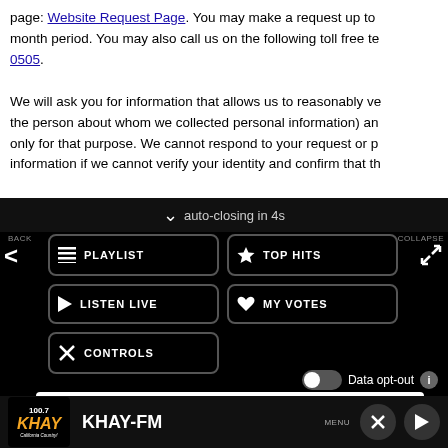page: Website Request Page. You may make a request up to … month period. You may also call us on the following toll free te… 0505.
We will ask you for information that allows us to reasonably ve… the person about whom we collected personal information) an… only for that purpose. We cannot respond to your request or p… information if we cannot verify your identity and confirm that th…
[Figure (screenshot): Mobile radio app panel overlay with dark background showing navigation buttons: PLAYLIST, TOP HITS, LISTEN LIVE, MY VOTES, CONTROLS. Shows 'auto-closing in 4s' message, Data opt-out toggle, an advertisement for Best Virginia Music Festival / Appaloosa Music Festival, and bottom bar with 100.7 KHAY-FM logo and station controls (MENU, close, play).]